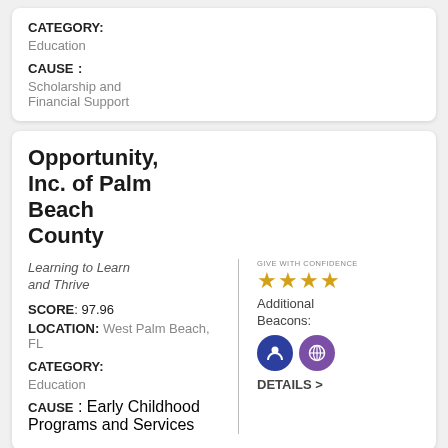CATEGORY: Education
CAUSE : Scholarship and Financial Support
Opportunity, Inc. of Palm Beach County
Learning to Learn and Thrive
SCORE: 97.96
LOCATION: West Palm Beach, FL
CATEGORY: Education
CAUSE : Early Childhood Programs and Services
[Figure (infographic): Give with Confidence badge with 4 gold stars, two beacon icons (blue person icon and purple globe icon), and DETAILS > link]